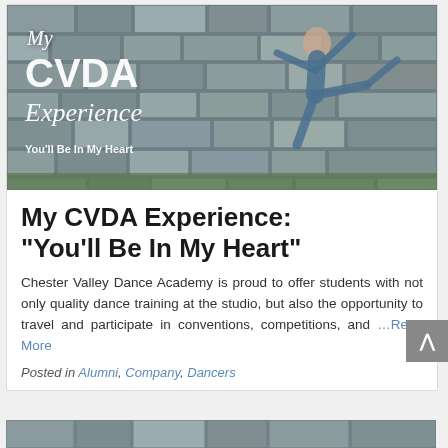[Figure (photo): Dancer leaping in front of a stone wall background with text overlay reading 'My CVDA Experience You'll Be In My Heart']
My CVDA Experience: “You'll Be In My Heart”
Chester Valley Dance Academy is proud to offer students with not only quality dance training at the studio, but also the opportunity to travel and participate in conventions, competitions, and …Read More
Posted in Alumni, Company, Dancers
[Figure (photo): Partial view of a second blog post image showing a dancer against a stone wall]